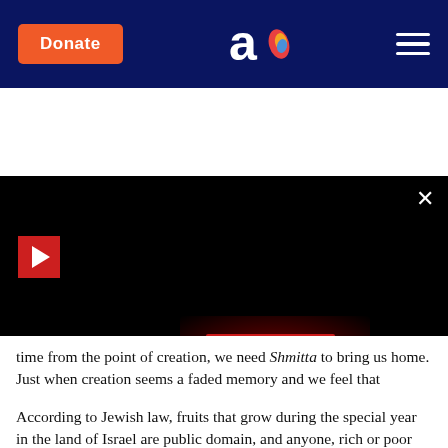Donate | Aish.com logo | Navigation menu
[Figure (screenshot): Dark video/media player area with play button, close button (×), a red glow background, and a red READ MORE button. A tab bar is visible at the bottom.]
time from the point of creation, we need Shmitta to bring us home. Just when creation seems a faded memory and we feel that mankind runs the world and that our brilliance has brought us whatever bounty humankind has achieved, shmitta brings a Shabbat to the land that changes everything.
According to Jewish law, fruits that grow during the special year in the land of Israel are public domain, and anyone, rich or poor can eat them. We are reminded